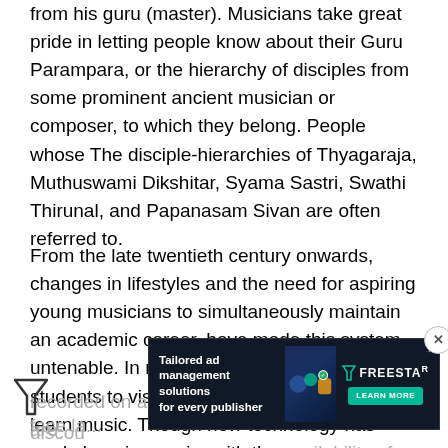from his guru (master). Musicians take great pride in letting people know about their Guru Parampara, or the hierarchy of disciples from some prominent ancient musician or composer, to which they belong. People whose The disciple-hierarchies of Thyagaraja, Muthuswami Dikshitar, Syama Sastri, Swathi Thirunal, and Papanasam Sivan are often referred to.
From the late twentieth century onwards, changes in lifestyles and the need for aspiring young musicians to simultaneously maintain an academic career, have made this system untenable. In modern times, it is common for students to visit their gurus daily or weekly to learn music. Though new technology has made learning easier with the availability of quick-learn media such as learning exercises recorded on audio cassettes and CDs, these are discouraged by many teachers, who point to the face-to-face learning...
[Figure (other): Advertisement banner: Tailored ad management solutions for every publisher - Freestar, with decorative graphic and Learn More button]